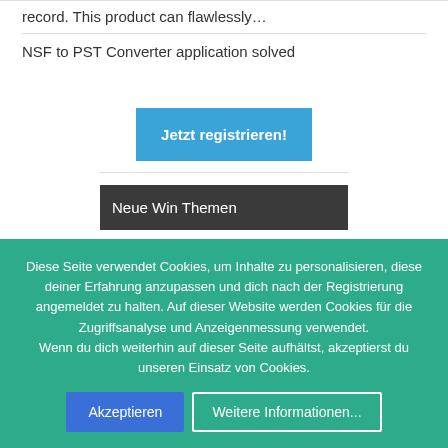record. This product can flawlessly…
NSF to PST Converter application solved
Jetzt registrieren!
Neue Win Themen
24h Betreuung für Senioren
lakpio posted Vor 4 Minuten
OneNote: wie Notizbuch löschen?
User_unknownPC posted Vor 7
Diese Seite verwendet Cookies, um Inhalte zu personalisieren, diese deiner Erfahrung anzupassen und dich nach der Registrierung angemeldet zu halten. Auf dieser Website werden Cookies für die Zugriffsanalyse und Anzeigenmessung verwendet.
Wenn du dich weiterhin auf dieser Seite aufhältst, akzeptierst du unseren Einsatz von Cookies.
Akzeptieren
Weitere Informationen...